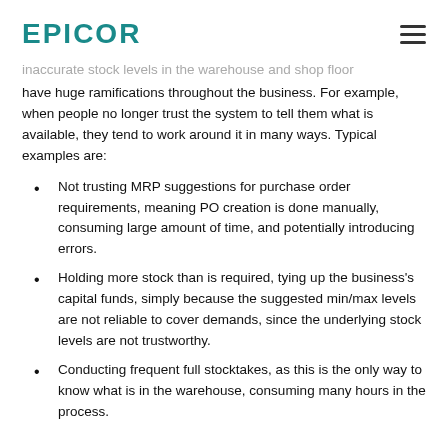EPICOR
inaccurate stock levels in the warehouse and shop floor have huge ramifications throughout the business. For example, when people no longer trust the system to tell them what is available, they tend to work around it in many ways. Typical examples are:
Not trusting MRP suggestions for purchase order requirements, meaning PO creation is done manually, consuming large amount of time, and potentially introducing errors.
Holding more stock than is required, tying up the business's capital funds, simply because the suggested min/max levels are not reliable to cover demands, since the underlying stock levels are not trustworthy.
Conducting frequent full stocktakes, as this is the only way to know what is in the warehouse, consuming many hours in the process.